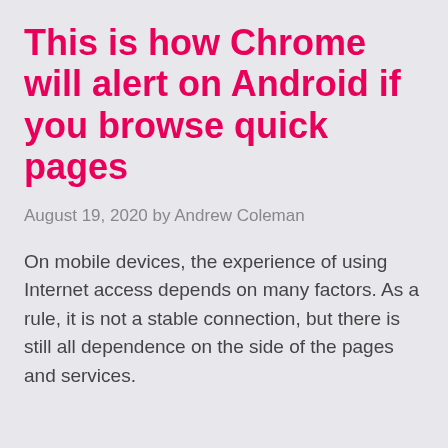This is how Chrome will alert on Android if you browse quick pages
August 19, 2020 by Andrew Coleman
On mobile devices, the experience of using Internet access depends on many factors. As a rule, it is not a stable connection, but there is still all dependence on the side of the pages and services.